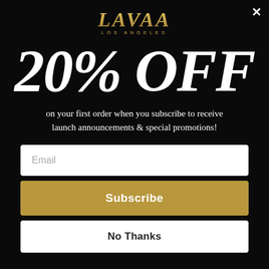[Figure (logo): LAVAA Los Angeles logo in gold/tan color on black background]
20% OFF
on your first order when you subscribe to receive launch announcements & special promotions!
Email
Subscribe
No Thanks